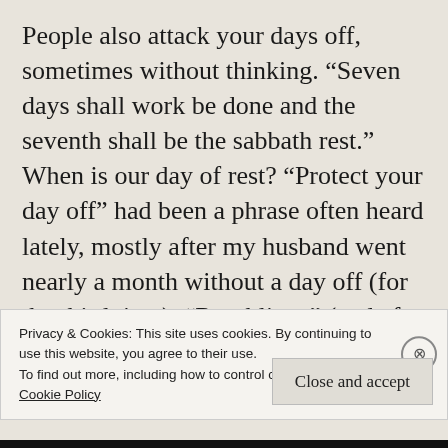People also attack your days off, sometimes without thinking. “Seven days shall work be done and the seventh shall be the sabbath rest.” When is our day of rest? “Protect your day off” had been a phrase often heard lately, mostly after my husband went nearly a month without a day off (for the third time). “Rumblings” (code for gossip) also comes around from time to time. These are things my
Privacy & Cookies: This site uses cookies. By continuing to use this website, you agree to their use.
To find out more, including how to control cookies, see here:
Cookie Policy
Close and accept